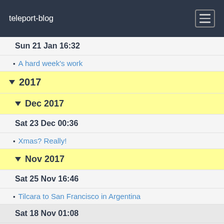teleport-blog
Sun 21 Jan 16:32
A hard week's work
2017
Dec 2017
Sat 23 Dec 00:36
Xmas? Really!
Nov 2017
Sat 25 Nov 16:46
Tilcara to San Francisco in Argentina
Sat 18 Nov 01:08
"Cry Havoc ... "
Fri 17 Nov 23:59
James, I presume?
Salar de Uyuni photos